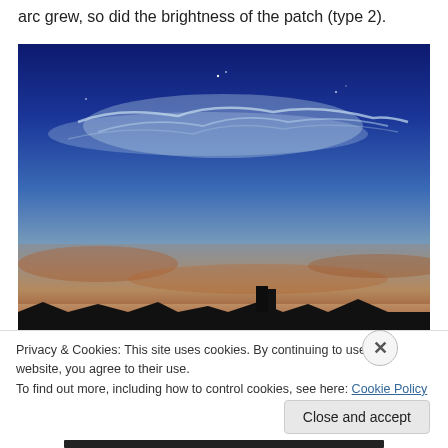arc grew, so did the brightness of the patch (type 2).
[Figure (photo): Night sky photograph showing noctilucent clouds glowing pale blue-white against a deep blue sky above a twilight horizon with orange-red clouds near the roofline silhouette of buildings.]
Privacy & Cookies: This site uses cookies. By continuing to use this website, you agree to their use.
To find out more, including how to control cookies, see here: Cookie Policy